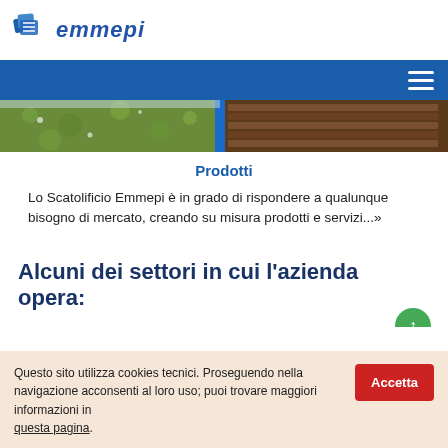emmepi
[Figure (photo): Outdoor scene showing grass field on the left and stacked metal pipes/tubes in brown on the right, with a blue vertical pole in the middle]
Prodotti
Lo Scatolificio Emmepi è in grado di rispondere a qualunque bisogno di mercato, creando su misura prodotti e servizi...»
Alcuni dei settori in cui l'azienda opera:
Questo sito utilizza cookies tecnici. Proseguendo nella navigazione acconsenti al loro uso; puoi trovare maggiori informazioni in questa pagina.